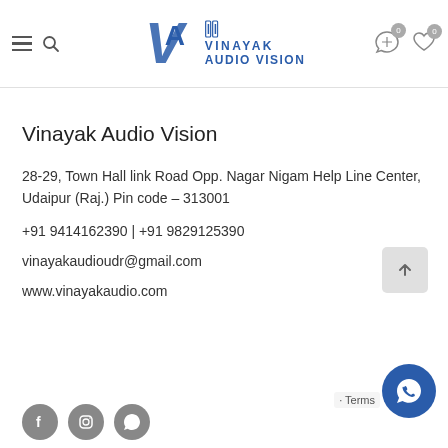Vinayak Audio Vision – website header with navigation icons
Vinayak Audio Vision
28-29, Town Hall link Road Opp. Nagar Nigam Help Line Center, Udaipur (Raj.) Pin code – 313001
+91 9414162390 | +91 9829125390
vinayakaudioudr@gmail.com
www.vinayakaudio.com